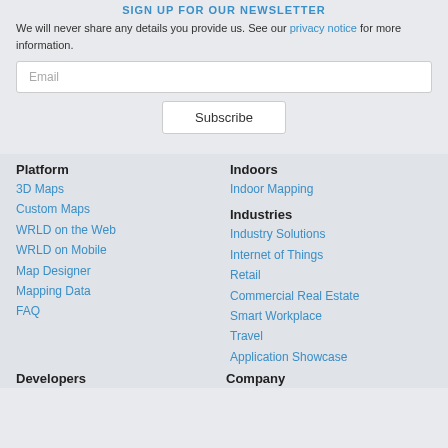SIGN UP FOR OUR NEWSLETTER
We will never share any details you provide us. See our privacy notice for more information.
Email
Subscribe
Platform
3D Maps
Custom Maps
WRLD on the Web
WRLD on Mobile
Map Designer
Mapping Data
FAQ
Indoors
Indoor Mapping
Industries
Industry Solutions
Internet of Things
Retail
Commercial Real Estate
Smart Workplace
Travel
Application Showcase
Developers
Company